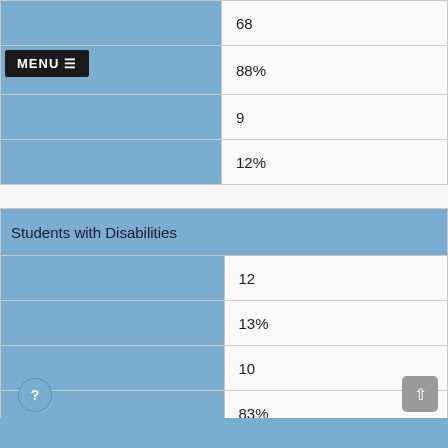|  |  |
| --- | --- |
|  | 68 |
| MENU ☰ | 88% |
|  | 9 |
|  | 12% |
| Students with Disabilities |  |
| --- | --- |
|  | 12 |
|  | 13% |
|  | 10 |
|  | 83% |
|  | 2 |
|  | 17% |